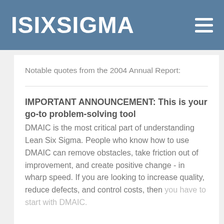ISIXSIGMA
Notable quotes from the 2004 Annual Report:
IMPORTANT ANNOUNCEMENT: This is your go-to problem-solving tool
DMAIC is the most critical part of understanding Lean Six Sigma. People who know how to use DMAIC can remove obstacles, take friction out of improvement, and create positive change - in wharp speed. If you are looking to increase quality, reduce defects, and control costs, then you have to start with DMAIC.